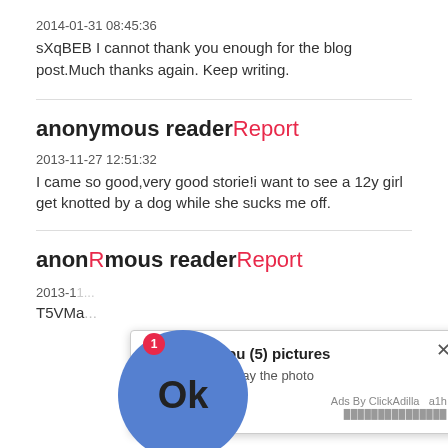2014-01-31 08:45:36
sXqBEB I cannot thank you enough for the blog post.Much thanks again. Keep writing.
anonymous reader Report
2013-11-27 12:51:32
I came so good,very good storie!i want to see a 12y girl get knotted by a dog while she sucks me off.
anonymous reader Report
2013-1...
T5VMa...
[Figure (screenshot): Ad overlay popup: 'Kate sent you (5) pictures — Click OK to display the photo' with a blue OK button circle and a notification badge, Ads By ClickAdilla a1h]